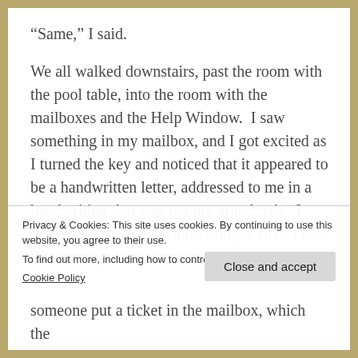“Same,” I said.
We all walked downstairs, past the room with the pool table, into the room with the mailboxes and the Help Window.  I saw something in my mailbox, and I got excited as I turned the key and noticed that it appeared to be a handwritten letter, addressed to me in a handwriting that was not my grandma’s.  I didn’t recognize the handwriting at first. I took the letter out of the mailbox and read the
Privacy & Cookies: This site uses cookies. By continuing to use this website, you agree to their use.
To find out more, including how to control cookies, see here:
Cookie Policy
Close and accept
someone put a ticket in the mailbox, which the